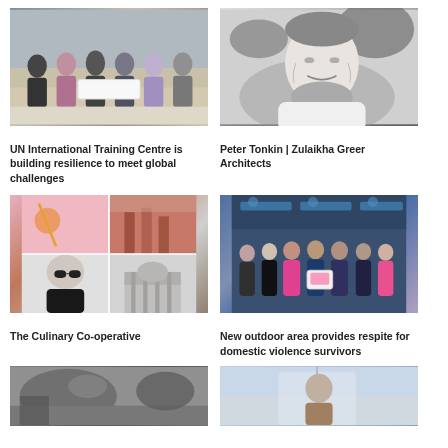[Figure (photo): Group photo of people in formal wear holding a document/certificate]
[Figure (photo): Black and white portrait of a smiling man with beard]
UN International Training Centre is building resilience to meet global challenges
Peter Tonkin | Zulaikha Greer Architects
[Figure (photo): Collage of images including a woman with sunglasses, architecture, and abstract scenes]
[Figure (photo): Group photo of people at an award ceremony with banner in background]
The Culinary Co-operative
New outdoor area provides respite for domestic violence survivors
[Figure (photo): Black and white outdoor scene]
[Figure (photo): Portrait photo of a person indoors]